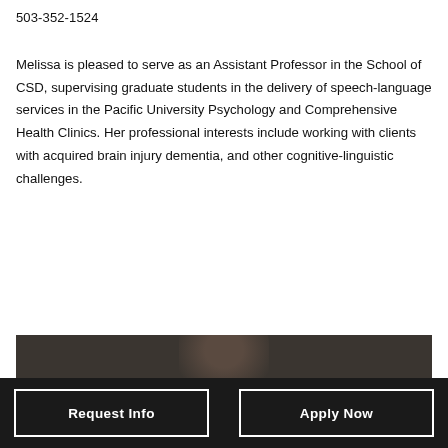503-352-1524
Melissa is pleased to serve as an Assistant Professor in the School of CSD, supervising graduate students in the delivery of speech-language services in the Pacific University Psychology and Comprehensive Health Clinics. Her professional interests include working with clients with acquired brain injury dementia, and other cognitive-linguistic challenges.
[Figure (photo): Dark background photo, appears to show the top of a person's head at the bottom of the frame]
Request Info
Apply Now